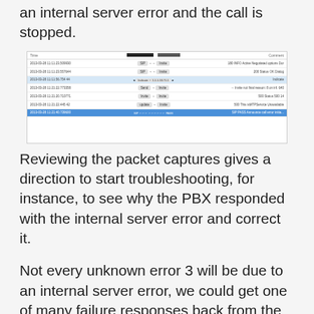an internal server error and the call is stopped.
[Figure (screenshot): A packet capture / network traffic analysis tool showing a list of captured SIP packets with timestamps, protocol details, and comment columns. One row is highlighted in blue.]
Reviewing the packet captures gives a direction to start troubleshooting, for instance, to see why the PBX responded with the internal server error and correct it.
Not every unknown error 3 will be due to an internal server error, we could get one of many failure responses back from the PBX.  The cause of the rejection is usually a